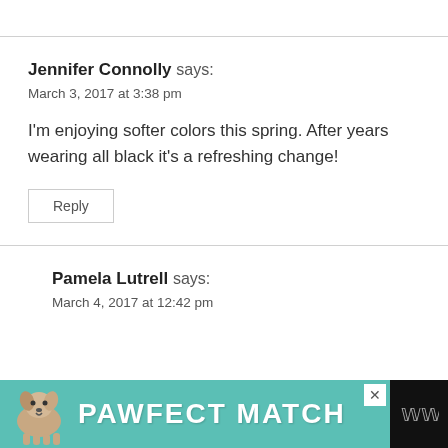Jennifer Connolly says:
March 3, 2017 at 3:38 pm
I'm enjoying softer colors this spring. After years wearing all black it's a refreshing change!
Reply
Pamela Lutrell says:
March 4, 2017 at 12:42 pm
[Figure (photo): Advertisement banner: PAWFECT MATCH with a dog photo, teal background, at the bottom of the page]